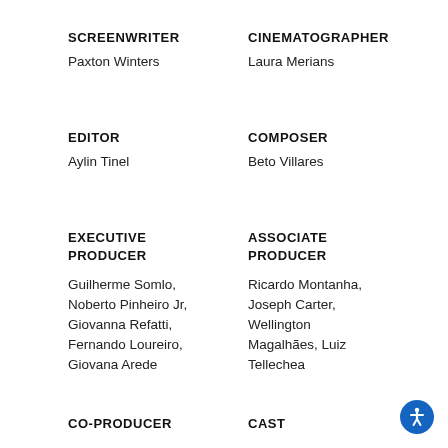SCREENWRITER
Paxton Winters
CINEMATOGRAPHER
Laura Merians
EDITOR
Aylin Tinel
COMPOSER
Beto Villares
EXECUTIVE
PRODUCER
Guilherme Somlo, Noberto Pinheiro Jr, Giovanna Refatti, Fernando Loureiro, Giovana Arede
ASSOCIATE
PRODUCER
Ricardo Montanha, Joseph Carter, Wellington Magalhães, Luiz Tellechea
CO-PRODUCER
CAST